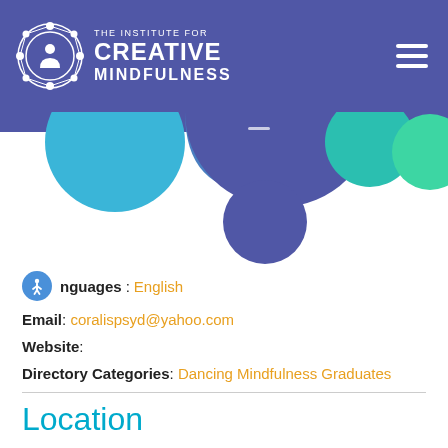The Institute for Creative Mindfulness
[Figure (illustration): Decorative banner with overlapping colorful circles in blue, teal, green, and purple on white background]
Languages: English
Email: coralispsyd@yahoo.com
Website:
Directory Categories: Dancing Mindfulness Graduates
Location